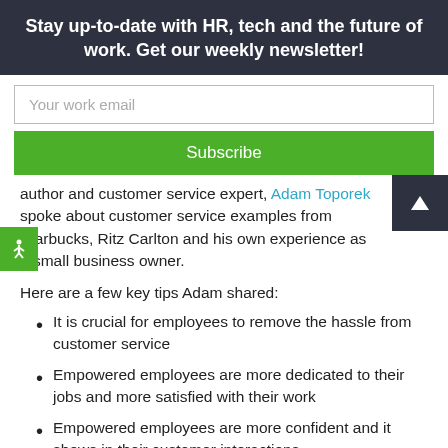Stay up-to-date with HR, tech and the future of work. Get our weekly newsletter!
Your work email
Subscribe
author and customer service expert, Adam Toporek spoke about customer service examples from Starbucks, Ritz Carlton and his own experience as a small business owner.
Here are a few key tips Adam shared:
It is crucial for employees to remove the hassle from customer service
Empowered employees are more dedicated to their jobs and more satisfied with their work
Empowered employees are more confident and it shows in their customer interactions